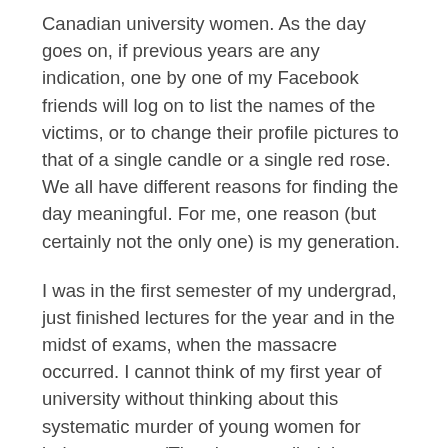Canadian university women. As the day goes on, if previous years are any indication, one by one of my Facebook friends will log on to list the names of the victims, or to change their profile pictures to that of a single candle or a single red rose. We all have different reasons for finding the day meaningful. For me, one reason (but certainly not the only one) is my generation.
I was in the first semester of my undergrad, just finished lectures for the year and in the midst of exams, when the massacre occurred. I cannot think of my first year of university without thinking about this systematic murder of young women for being women. (The shooter called them feminists, but not all of them were. Indeed, one of his victims protested that she wasn't a feminist. No feminist scholar who has taught at the undergraduate level would be